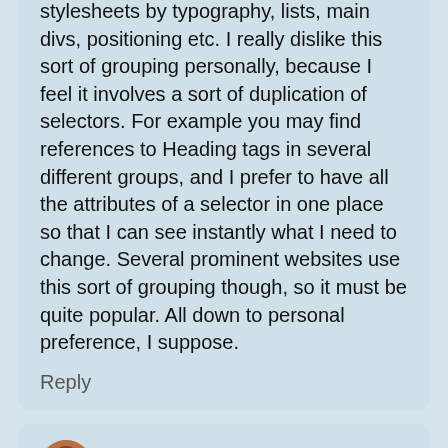stylesheets by typography, lists, main divs, positioning etc. I really dislike this sort of grouping personally, because I feel it involves a sort of duplication of selectors. For example you may find references to Heading tags in several different groups, and I prefer to have all the attributes of a selector in one place so that I can see instantly what I need to change. Several prominent websites use this sort of grouping though, so it must be quite popular. All down to personal preference, I suppose.
Reply
Robert  April 10, 2005 at 5:17
I suppose.
But not a way I'd personally choose.